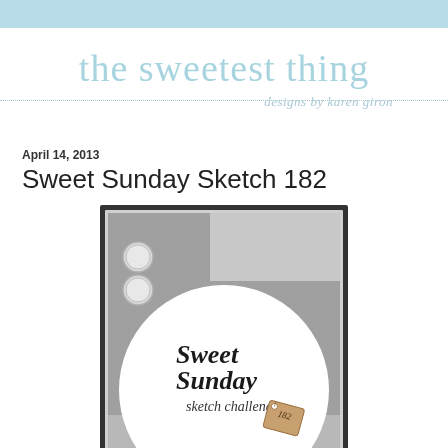the sweetest thing / designs by karen giron
April 14, 2013
Sweet Sunday Sketch 182
[Figure (illustration): Card sketch layout showing a gray patterned card base with two circles on the left, a lighter gray rectangle panel at top center-right, and a large white circle in the center-bottom area. Inside the circle is the text 'Sweet Sunday sketch challenge' with a tan tag showing '182'.]